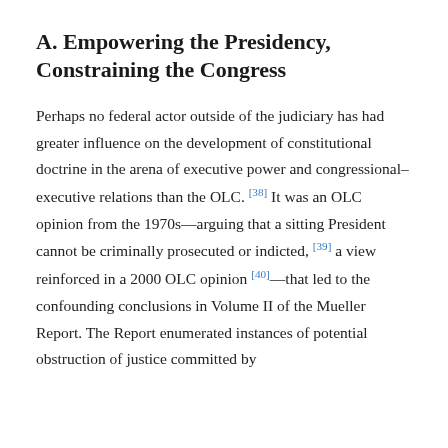A. Empowering the Presidency, Constraining the Congress
Perhaps no federal actor outside of the judiciary has had greater influence on the development of constitutional doctrine in the arena of executive power and congressional–executive relations than the OLC. [38] It was an OLC opinion from the 1970s—arguing that a sitting President cannot be criminally prosecuted or indicted, [39] a view reinforced in a 2000 OLC opinion [40]—that led to the confounding conclusions in Volume II of the Mueller Report. The Report enumerated instances of potential obstruction of justice committed by